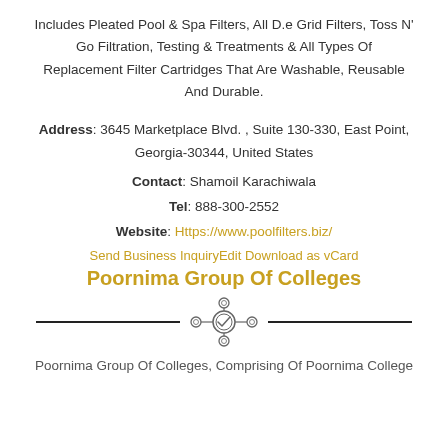Includes Pleated Pool & Spa Filters, All D.e Grid Filters, Toss N' Go Filtration, Testing & Treatments & All Types Of Replacement Filter Cartridges That Are Washable, Reusable And Durable.
Address: 3645 Marketplace Blvd. , Suite 130-330, East Point, Georgia-30344, United States
Contact: Shamoil Karachiwala
Tel: 888-300-2552
Website: Https://www.poolfilters.biz/
Send Business InquiryEdit Download as vCard
Poornima Group Of Colleges
[Figure (illustration): A decorative divider with horizontal lines on each side and a central network/hub icon with circular nodes.]
Poornima Group Of Colleges, Comprising Of Poornima College